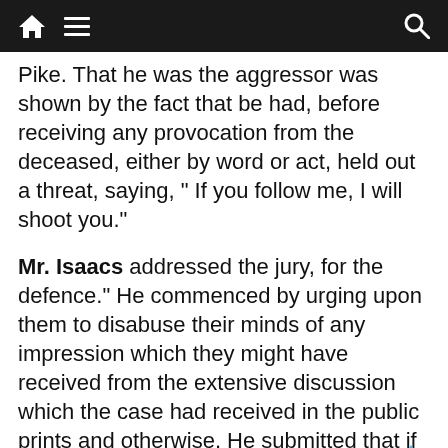navigation bar with home, menu, and search icons
Pike. That he was the aggressor was shown by the fact that be had, before receiving any provocation from the deceased, either by word or act, held out a threat, saying, “ If you follow me, I will shoot you.”
Mr. Isaacs addressed the jury, for the defence.” He commenced by urging upon them to disabuse their minds of any impression which they might have received from the extensive discussion which the case had received in the public prints and otherwise. He submitted that if they arrived at the conclusion that the